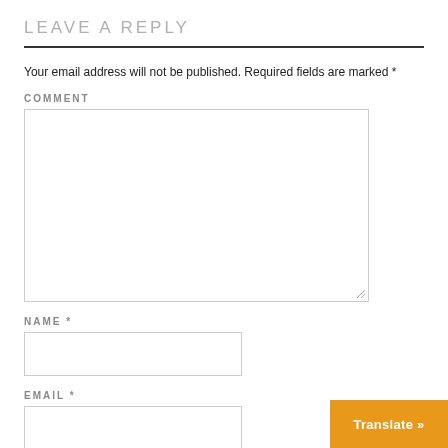LEAVE A REPLY
Your email address will not be published. Required fields are marked *
COMMENT
NAME *
EMAIL *
Translate »